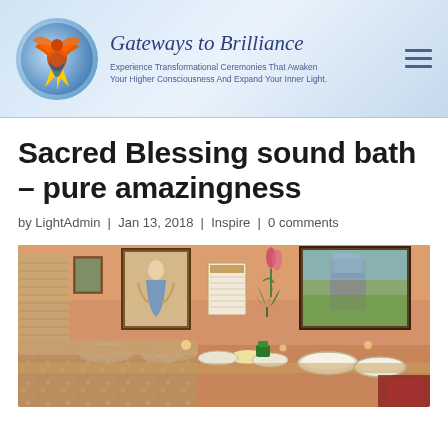Gateways to Brilliance — Experience Transformational Ceremonies That Awaken Your Higher Consciousness And Expand Your Inner Light.
Sacred Blessing sound bath – pure amazingness
by LightAdmin | Jan 13, 2018 | Inspire | 0 comments
[Figure (photo): Interior room with singing bowls arranged on a floral tablecloth, framed spiritual artwork on walls, candles, and greenery in warm ambient lighting.]